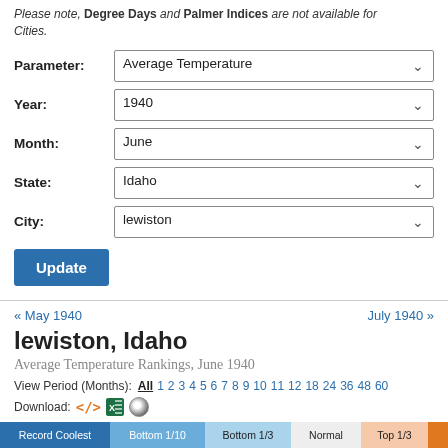Please note, Degree Days and Palmer Indices are not available for Cities.
Parameter: Average Temperature
Year: 1940
Month: June
State: Idaho
City: lewiston
Update
« May 1940
July 1940 »
lewiston, Idaho
Average Temperature Rankings, June 1940
View Period (Months): All 1 2 3 4 5 6 7 8 9 10 11 12 18 24 36 48 60
Download:
Record Coolest  Bottom 1/10  Bottom 1/3  Normal  Top 1/3